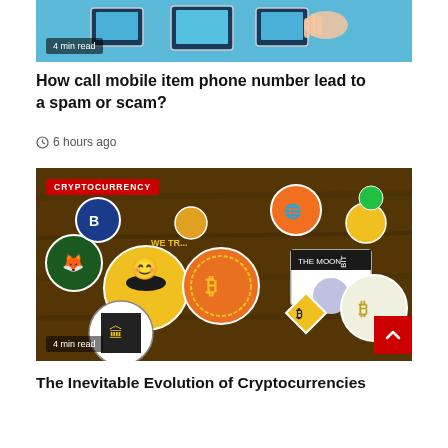[Figure (photo): Top image showing tablets being touched with a hand, blue background, with '4 min read' badge overlay]
How call mobile item phone number lead to a spam or scam?
6 hours ago
[Figure (photo): Cryptocurrency stickers collection on wooden background, with CRYPTOCURRENCY label badge and '4 min read' overlay, and red scroll-to-top button]
The Inevitable Evolution of Cryptocurrencies